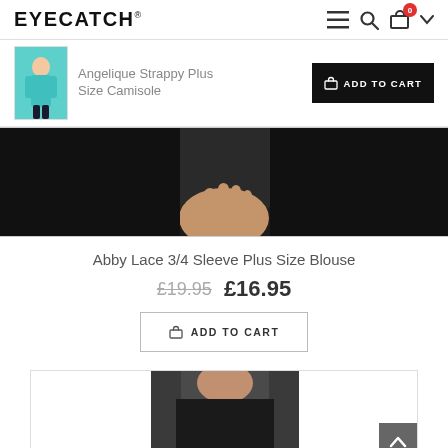EYECATCH®
[Figure (photo): Small thumbnail of Angelique Strappy Plus Size Camisole - woman in teal camisole top]
Angelique Strappy Plus Size Camisole
ADD TO CART
[Figure (photo): Cropped product photo showing dark blouse with hand detail]
Abby Lace 3/4 Sleeve Plus Size Blouse
£19.95  £16.95
ADD TO CART
[Figure (photo): Bottom product photo showing dark lace cardigan/blouse on model]